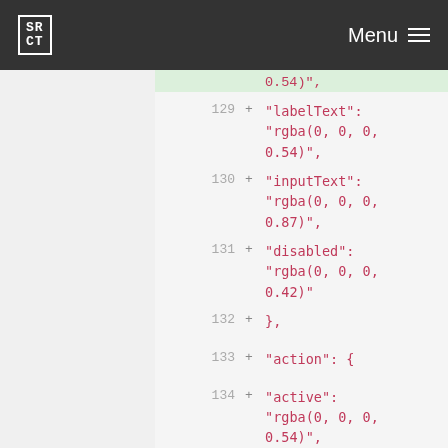SR CT   Menu
0.54)",
129 + "labelText": "rgba(0, 0, 0, 0.54)",
130 + "inputText": "rgba(0, 0, 0, 0.87)",
131 + "disabled": "rgba(0, 0, 0, 0.42)"
132 + },
133 + "action": {
134 + "active": "rgba(0, 0, 0, 0.54)",